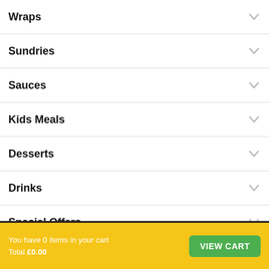Wraps
Sundries
Sauces
Kids Meals
Desserts
Drinks
Special Offers
Customer Notice
You have 0 items in your cart
Total £0.00
VIEW CART